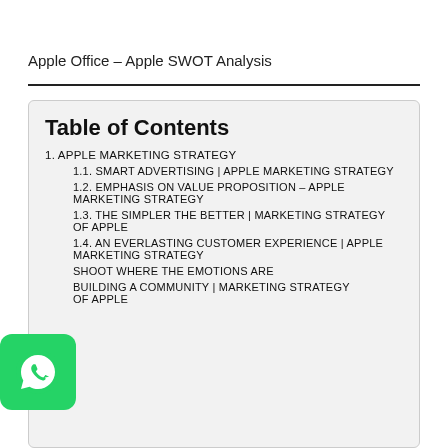Apple Office – Apple SWOT Analysis
Table of Contents
1. APPLE MARKETING STRATEGY
1.1. SMART ADVERTISING | APPLE MARKETING STRATEGY
1.2. EMPHASIS ON VALUE PROPOSITION – APPLE MARKETING STRATEGY
1.3. THE SIMPLER THE BETTER | MARKETING STRATEGY OF APPLE
1.4. AN EVERLASTING CUSTOMER EXPERIENCE | APPLE MARKETING STRATEGY
SHOOT WHERE THE EMOTIONS ARE
BUILDING A COMMUNITY | MARKETING STRATEGY OF APPLE